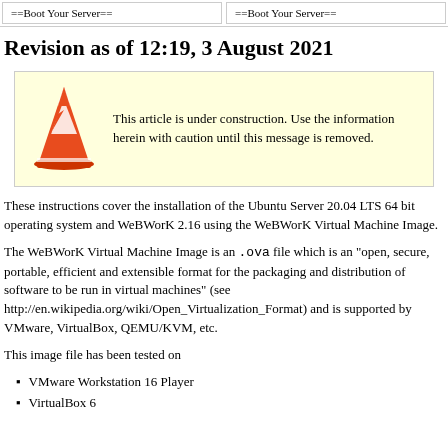==Boot Your Server==   ==Boot Your Server==
Revision as of 12:19, 3 August 2021
[Figure (infographic): Orange traffic cone icon with white stripes inside a yellow construction warning box with text: 'This article is under construction. Use the information herein with caution until this message is removed.']
These instructions cover the installation of the Ubuntu Server 20.04 LTS 64 bit operating system and WeBWorK 2.16 using the WeBWorK Virtual Machine Image.
The WeBWorK Virtual Machine Image is an .ova file which is an "open, secure, portable, efficient and extensible format for the packaging and distribution of software to be run in virtual machines" (see http://en.wikipedia.org/wiki/Open_Virtualization_Format) and is supported by VMware, VirtualBox, QEMU/KVM, etc.
This image file has been tested on
VMware Workstation 16 Player
VirtualBox 6